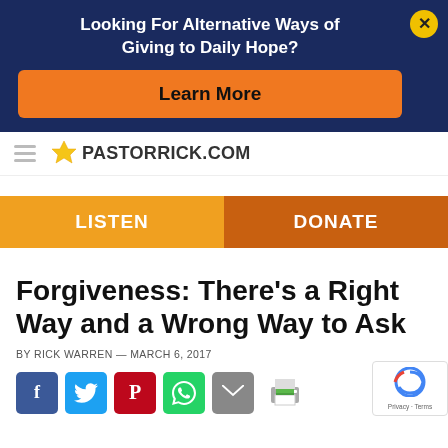Looking For Alternative Ways of Giving to Daily Hope?
Learn More
[Figure (logo): PastorRick.com logo with yellow sunburst icon]
LISTEN
DONATE
Forgiveness: There’s a Right Way and a Wrong Way to Ask
BY RICK WARREN — MARCH 6, 2017
[Figure (infographic): Social sharing icons: Facebook, Twitter, Pinterest, WhatsApp, Email, Print]